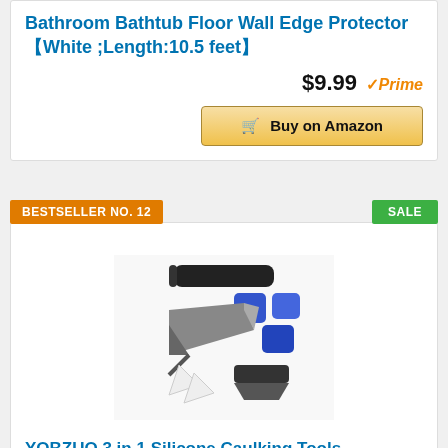Bathroom Bathtub Floor Wall Edge Protector【White ;Length:10.5 feet】
$9.99 ✓Prime
🛒 Buy on Amazon
BESTSELLER NO. 12
SALE
[Figure (photo): 3-in-1 silicone caulking tool kit with stainless steel head, blue silicone scrapers, and white angle tools]
YOBZUO 3 in 1 Silicone Caulking Tools【stainless steelhead】,